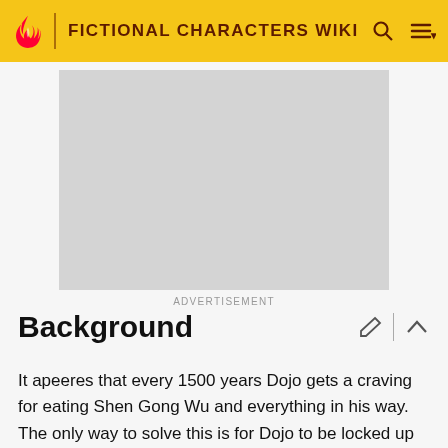FICTIONAL CHARACTERS WIKI
[Figure (other): Advertisement placeholder — grey rectangle]
ADVERTISEMENT
Background
It apeeres that every 1500 years Dojo gets a craving for eating Shen Gong Wu and everything in his way. The only way to solve this is for Dojo to be locked up for 24 hours. Also if he eats the...